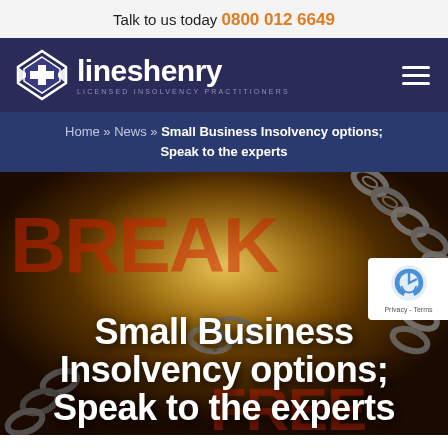Talk to us today 0800 012 6649
[Figure (logo): Lines Henry Licensed Insolvency Practitioners logo with navigation bar on dark navy background]
Home » News » Small Business Insolvency options; Speak to the experts
[Figure (photo): Dark dramatic image of a broken chain against orange/yellow glowing background with 'BREAK FREE' text visible, with reCAPTCHA widget overlay]
Small Business Insolvency options; Speak to the experts